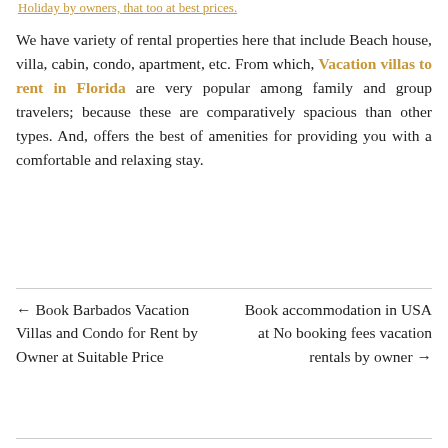Holiday by owners, that too at best prices.
We have variety of rental properties here that include Beach house, villa, cabin, condo, apartment, etc. From which, Vacation villas to rent in Florida are very popular among family and group travelers; because these are comparatively spacious than other types. And, offers the best of amenities for providing you with a comfortable and relaxing stay.
← Book Barbados Vacation Villas and Condo for Rent by Owner at Suitable Price
Book accommodation in USA at No booking fees vacation rentals by owner →